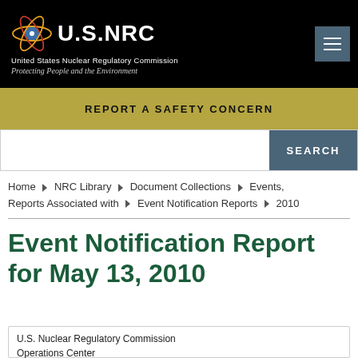U.S.NRC United States Nuclear Regulatory Commission Protecting People and the Environment
REPORT A SAFETY CONCERN
SEARCH
Home ▶ NRC Library ▶ Document Collections ▶ Events, Reports Associated with ▶ Event Notification Reports ▶ 2010
Event Notification Report for May 13, 2010
U.S. Nuclear Regulatory Commission Operations Center